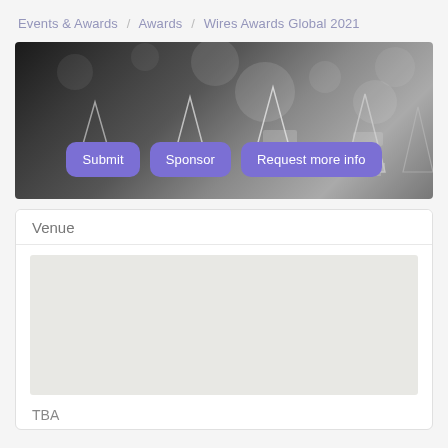Events & Awards / Awards / Wires Awards Global 2021
[Figure (photo): Black and white photo of crystal award trophies with three purple buttons overlaid: Submit, Sponsor, Request more info]
Venue
[Figure (map): Placeholder map area (gray/beige background, no detail visible)]
TBA